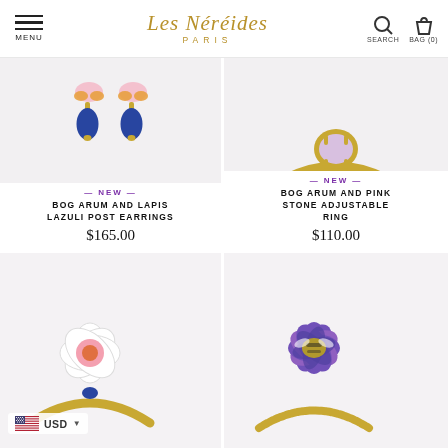Les Néréides PARIS — MENU | SEARCH | BAG (0)
[Figure (photo): Bog Arum and Lapis Lazuli Post Earrings product photo — gold earrings with pink flower tops and blue lapis lazuli teardrop pendants]
— NEW —
BOG ARUM AND LAPIS LAZULI POST EARRINGS
$165.00
[Figure (photo): Bog Arum and Pink Stone Adjustable Ring product photo — gold ring with round lavender/pink stone in prong setting]
— NEW —
BOG ARUM AND PINK STONE ADJUSTABLE RING
$110.00
[Figure (photo): Bottom-left product photo — gold ring with white and pink flower enamel detail and blue accents, USD currency selector overlay]
[Figure (photo): Bottom-right product photo — gold twisted band ring with purple and blue daisy/cornflower enamel flower top with bee detail]